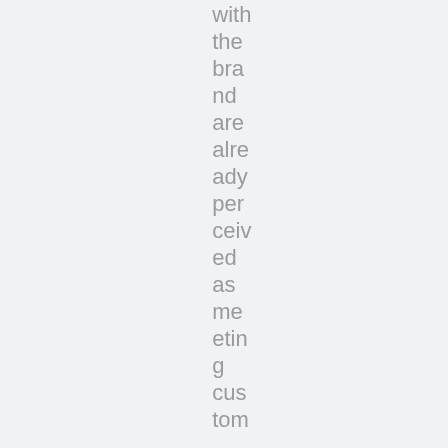with the brand are already perceived as meeting custom